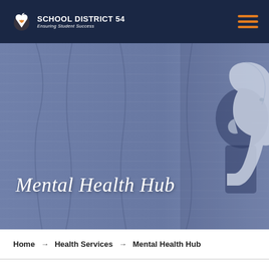SCHOOL DISTRICT 54 — Ensuring Student Success
[Figure (illustration): Hero banner with a blue-toned wood-grain background and a paper cutout silhouette of a human head profile on the right side. White italic text reads 'Mental Health Hub'.]
Mental Health Hub
Home → Health Services → Mental Health Hub